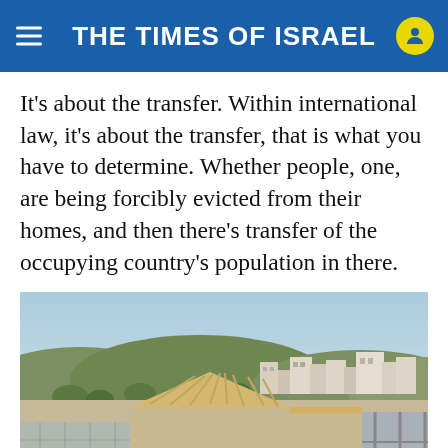THE TIMES OF ISRAEL
It's about the transfer. Within international law, it's about the transfer, that is what you have to determine. Whether people, one, are being forcibly evicted from their homes, and then there's transfer of the occupying country's population in there.
[Figure (photo): Construction site showing houses being built in what appears to be a West Bank settlement, with a hillside town visible in the background under a clear blue sky.]